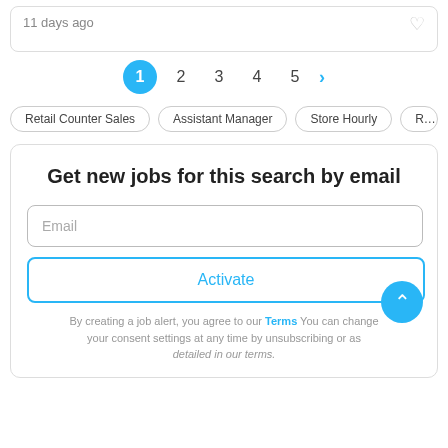11 days ago
1 2 3 4 5 >
Retail Counter Sales
Assistant Manager
Store Hourly
Retail
Get new jobs for this search by email
Email
Activate
By creating a job alert, you agree to our Terms You can change your consent settings at any time by unsubscribing or as detailed in our terms.